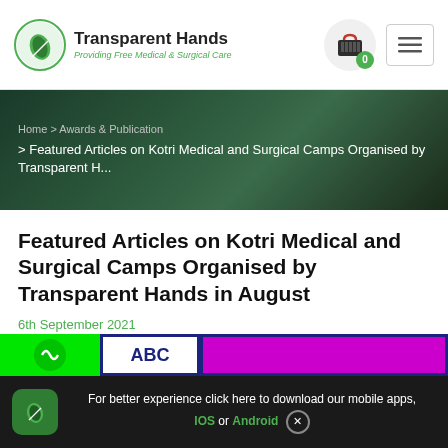[Figure (logo): Transparent Hands logo with circular green icon and text 'Transparent Hands - Providing Free Medical & Surgical Care']
Transparent Hands - Providing Free Medical & Surgical Care
Home > Awards & Publication > Featured Articles on Kotri Medical and Surgical Camps Organised by Transparent H...
Featured Articles on Kotri Medical and Surgical Camps Organised by Transparent Hands in August
6th September 2021
[Figure (screenshot): Article preview bar with green, ABC logo, and pink/magenta section]
For better experience click here to download our mobile apps, IOS or Android